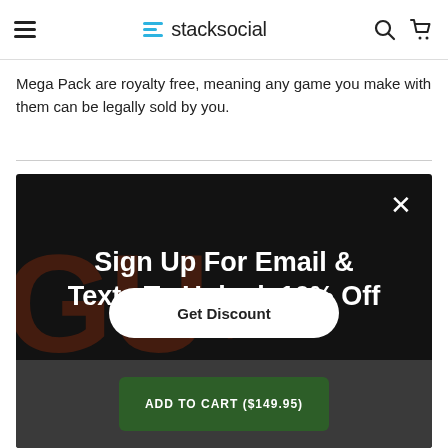stacksocial
Mega Pack are royalty free, meaning any game you make with them can be legally sold by you.
[Figure (screenshot): Modal popup overlay on StackSocial website with dark background showing 'Sign Up For Email & Texts To Unlock 10% Off' headline, a close (X) button, a 'Get Discount' button, and an 'ADD TO CART ($149.95)' green button at the bottom. Faint orange/red game-related text visible in background.]